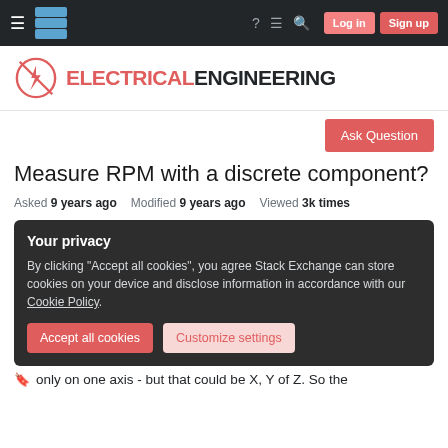Electrical Engineering Stack Exchange — navigation bar with Log in and Sign up buttons
[Figure (logo): Electrical Engineering Stack Exchange logo with red circuit symbol and ELECTRICAL ENGINEERING text]
Ask Question
Measure RPM with a discrete component?
Asked 9 years ago   Modified 9 years ago   Viewed 3k times
Your privacy
By clicking "Accept all cookies", you agree Stack Exchange can store cookies on your device and disclose information in accordance with our Cookie Policy.
Accept all cookies   Customize settings
only on one axis - but that could be X, Y of Z. So the